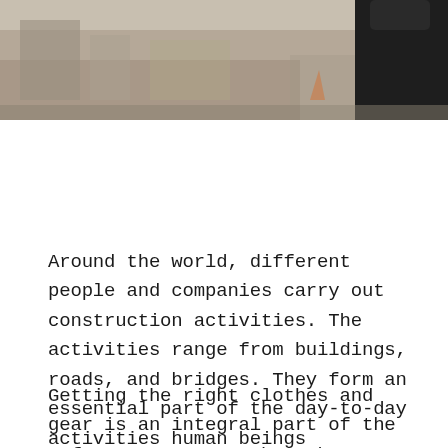[Figure (photo): Partial photo of a person wearing a dark outfit at a construction site, with blurred background showing construction materials and equipment.]
Around the world, different people and companies carry out construction activities. The activities range from buildings, roads, and bridges. They form an essential part of the day-to-day activities human beings undertake. Having safety measures in place is necessary to ensure that the whole process runs smoothly.
Getting the right clothes and gear is an integral part of the safety measures to be taken. Before embarking on a construction process, all the workers